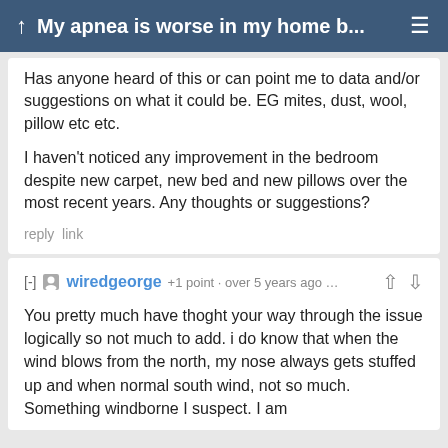My apnea is worse in my home b…
Has anyone heard of this or can point me to data and/or suggestions on what it could be. EG mites, dust, wool, pillow etc etc.

I haven't noticed any improvement in the bedroom despite new carpet, new bed and new pillows over the most recent years. Any thoughts or suggestions?
reply link
[-] wiredgeorge +1 point · over 5 years ago …
You pretty much have thoght your way through the issue logically so not much to add. i do know that when the wind blows from the north, my nose always gets stuffed up and when normal south wind, not so much. Something windborne I suspect. I am